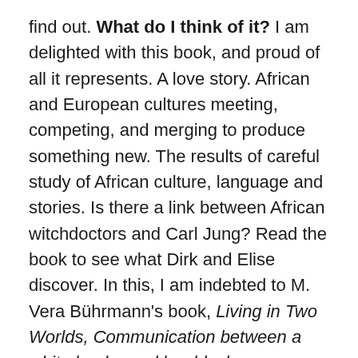find out. What do I think of it? I am delighted with this book, and proud of all it represents. A love story. African and European cultures meeting, competing, and merging to produce something new. The results of careful study of African culture, language and stories. Is there a link between African witchdoctors and Carl Jung? Read the book to see what Dirk and Elise discover. In this, I am indebted to M. Vera Bührmann's book, Living in Two Worlds, Communication between a white healer and her black counterparts. Here's a review by a less-than-unbiased bookworm, who nevertheless has interesting insights into the book: Inside the book – Things Unseen by Sarah Maddox. I think you'll enjoy Things Unseen. I hope you'll love it as much as I do.
Confluence, Tech Comm, Chocolate